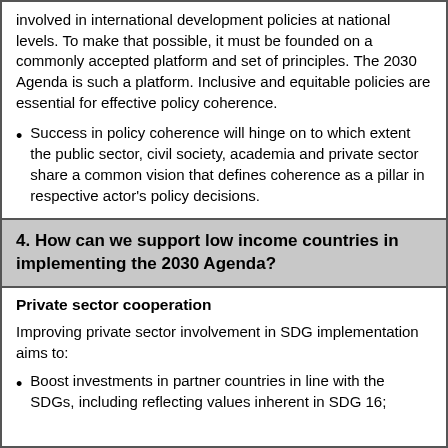involved in international development policies at national levels. To make that possible, it must be founded on a commonly accepted platform and set of principles. The 2030 Agenda is such a platform. Inclusive and equitable policies are essential for effective policy coherence.
Success in policy coherence will hinge on to which extent the public sector, civil society, academia and private sector share a common vision that defines coherence as a pillar in respective actor's policy decisions.
4. How can we support low income countries in implementing the 2030 Agenda?
Private sector cooperation
Improving private sector involvement in SDG implementation aims to:
Boost investments in partner countries in line with the SDGs, including reflecting values inherent in SDG 16;